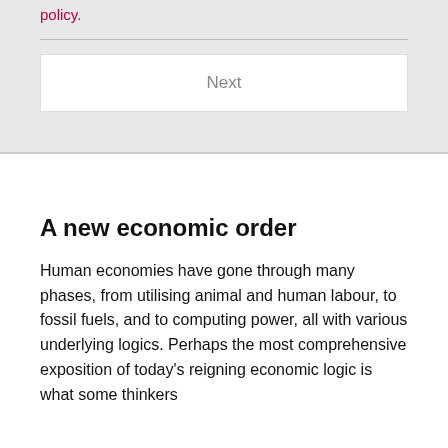policy.
Next
A new economic order
Human economies have gone through many phases, from utilising animal and human labour, to fossil fuels, and to computing power, all with various underlying logics. Perhaps the most comprehensive exposition of today's reigning economic logic is what some thinkers